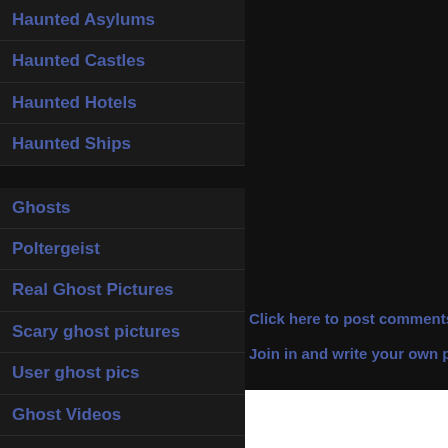Haunted Asylums
Haunted Castles
Haunted Hotels
Haunted Ships
Ghosts
Poltergeist
Real Ghost Pictures
Scary ghost pictures
User ghost pics
Ghost Videos
Home Haunts
Ghost Hunting
Hunting Equipment
Click here to post comments
Join in and write your own pa